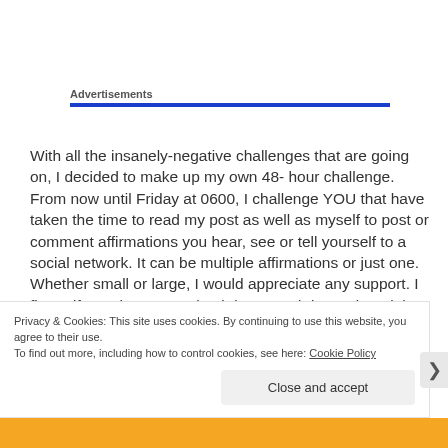Advertisements
With all the insanely-negative challenges that are going on, I decided to make up my own 48- hour challenge. From now until Friday at 0600, I challenge YOU that have taken the time to read my post as well as myself to post or comment affirmations you hear, see or tell yourself to a social network. It can be multiple affirmations or just one. Whether small or large, I would appreciate any support. I figure if people can get “iced down” and “burned up” it has
Privacy & Cookies: This site uses cookies. By continuing to use this website, you agree to their use.
To find out more, including how to control cookies, see here: Cookie Policy